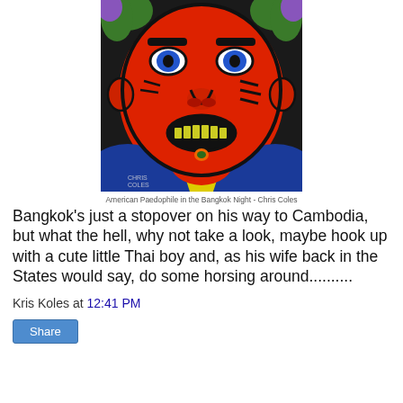[Figure (illustration): A bold, expressionist-style painting of a man's face with red skin, blue eyes, dark eyebrows, a wide mouth with yellow teeth, green hair at the top corners, wearing a blue jacket and yellow shirt/collar. The figure has a green mole on the chin. Artist signature reads 'Chris Coles' in the lower left corner.]
American Paedophile in the Bangkok Night - Chris Coles
Bangkok's just a stopover on his way to Cambodia, but what the hell, why not take a look, maybe hook up with a cute little Thai boy and, as his wife back in the States would say, do some horsing around..........
Kris Koles at 12:41 PM
Share